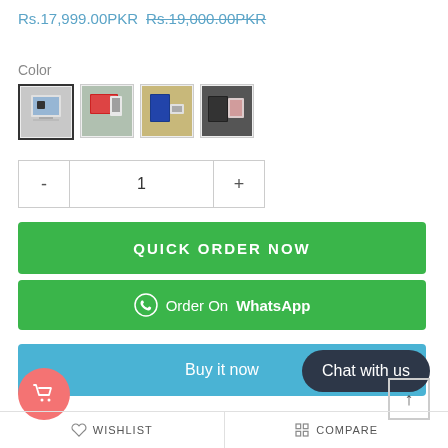Rs.17,999.00PKR Rs.19,000.00PKR
Color
[Figure (photo): Four color swatch thumbnail images of a laptop product]
- 1 +
QUICK ORDER NOW
Order On WhatsApp
Buy it now
Chat with us
WISHLIST
COMPARE